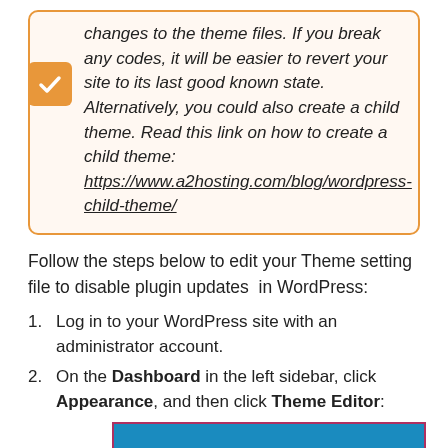changes to the theme files. If you break any codes, it will be easier to revert your site to its last good known state. Alternatively, you could also create a child theme. Read this link on how to create a child theme: https://www.a2hosting.com/blog/wordpress-child-theme/
Follow the steps below to edit your Theme setting file to disable plugin updates in WordPress:
Log in to your WordPress site with an administrator account.
On the Dashboard in the left sidebar, click Appearance, and then click Theme Editor:
[Figure (screenshot): Screenshot of WordPress admin sidebar showing 'Appearance' menu item with a pushpin icon on a blue background]